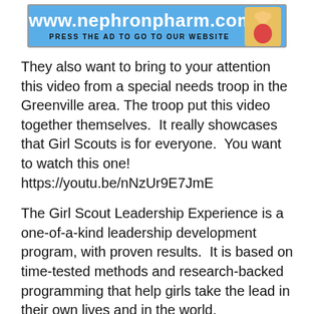[Figure (screenshot): Advertisement banner for nephronpharm.com with blue background, white bold URL text, small character illustration on right, and text 'PRESS THE AD TO GO TO OUR WEBSITE' below]
They also want to bring to your attention this video from a special needs troop in the Greenville area. The troop put this video together themselves.  It really showcases that Girl Scouts is for everyone.  You want to watch this one! https://youtu.be/nNzUr9E7JmE
The Girl Scout Leadership Experience is a one-of-a-kind leadership development program, with proven results.  It is based on time-tested methods and research-backed programming that help girls take the lead in their own lives and in the world.